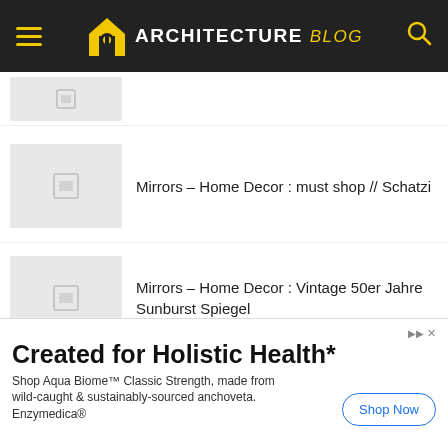ARCHITECTURE blog
[Figure (other): Partial thumbnail placeholder image at top]
Mirrors – Home Decor : must shop // Schatzi
Mirrors – Home Decor : Vintage 50er Jahre Sunburst Spiegel
Mirrors – Home Decor : Illuminated Mirror by Emil Stejnar for Rupert Nikoll, Vienna 1955
Created for Holistic Health*
Shop Aqua Biome™ Classic Strength, made from wild-caught & sustainably-sourced anchoveta. Enzymedica®